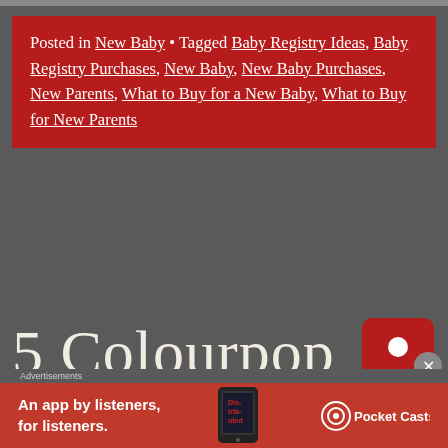Posted in New Baby • Tagged Baby Registry Ideas, Baby Registry Purchases, New Baby, New Baby Purchases, New Parents, What to Buy for a New Baby, What to Buy for New Parents
5 Colourpop Stone Cold
[Figure (screenshot): Advertisement banner for Pocket Casts app: red background with text 'An app by listeners, for listeners.' and Pocket Casts logo, with phone image showing 'Distributed' podcast artwork]